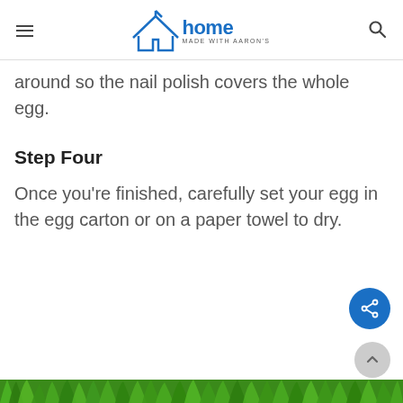home made with aaron's
around so the nail polish covers the whole egg.
Step Four
Once you're finished, carefully set your egg in the egg carton or on a paper towel to dry.
[Figure (photo): Green grass strip at bottom of page]